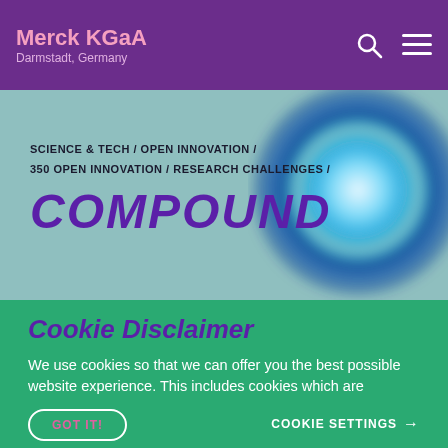Merck KGaA Darmstadt, Germany
SCIENCE & TECH / OPEN INNOVATION / 350 OPEN INNOVATION / RESEARCH CHALLENGES /
COMPOUND
Cookie Disclaimer
We use cookies so that we can offer you the best possible website experience. This includes cookies which are necessary for the operation of the app
GOT IT!
COOKIE SETTINGS →